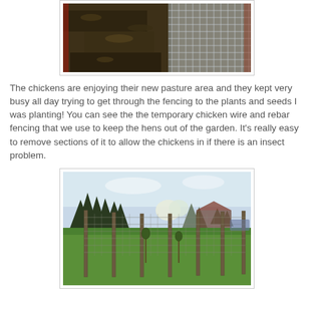[Figure (photo): Close-up photo of soil/mulch with chicken wire fencing visible on the right side, with a red planter or barrier.]
The chickens are enjoying their new pasture area and they kept very busy all day trying to get through the fencing to the plants and seeds I was planting!  You can see the the temporary chicken wire and rebar fencing that we use to keep the hens out of the garden.  It's really easy to remove sections of it to allow the chickens in if there is an insect problem.
[Figure (photo): Outdoor photo of a garden pasture area with tall rebar/wire fence posts running along a green grassy area, with evergreen trees and farm buildings in the background.]